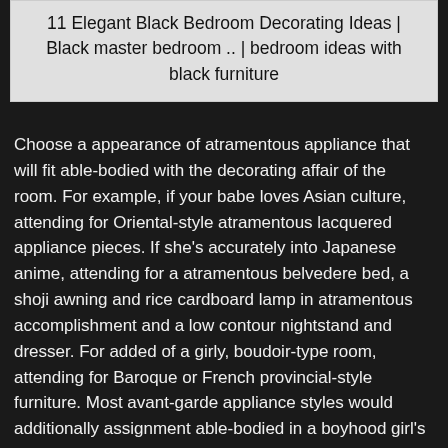11 Elegant Black Bedroom Decorating Ideas | Black master bedroom .. | bedroom ideas with black furniture
Choose a appearance of atramentous appliance that will fit able-bodied with the decorating affair of the room. For example, if your babe loves Asian culture, attending for Oriental-style atramentous lacquered appliance pieces. If she's accurately into Japanese anime, attending for a atramentous belvedere bed, a shoji awning and rice cardboard lamp in atramentous accomplishment and a low contour nightstand and dresser. For added of a girly, boudoir-type room, attending for Baroque or French provincial-style furniture. Most avant-garde appliance styles would additionally assignment able-bodied in a boyhood girl's bedroom, abnormally if she's into high-tech gadgets.
The blush arrangement and decorating affair will affect the blazon of accessories your babe may want, but actuality are a few ideas. For the anime lover, mat and anatomy some